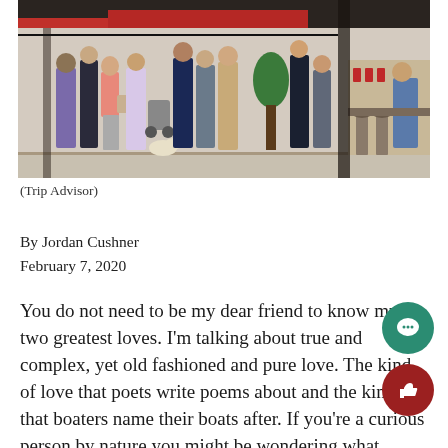[Figure (photo): Outdoor photo of people queuing outside a cafe or restaurant with tables and bar stools visible on the right side]
(Trip Advisor)
By Jordan Cushner
February 7, 2020
You do not need to be my dear friend to know my two greatest loves. I'm talking about true and complex, yet old fashioned and pure love. The kind of love that poets write poems about and the kind that boaters name their boats after. If you're a curious person by nature you might be wondering what entities are deserving of this unconditional love, and borderline addiction. I will confess, my loves are coffee and scones. To establish some credibility, I am not some